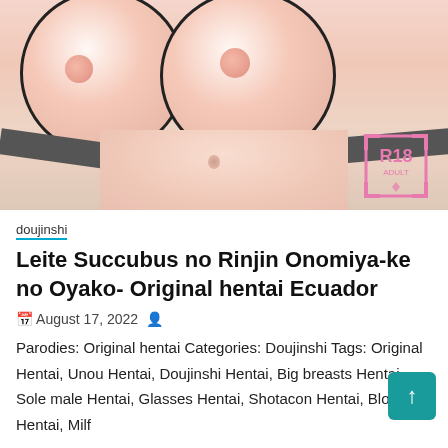[Figure (illustration): Anime/hentai illustration showing a close-up of a female figure with large breasts partially covered by a dark bra strap, with an R18 Adult watermark badge in the bottom right corner.]
doujinshi
Leite Succubus no Rinjin Onomiya-ke no Oyako- Original hentai Ecuador
August 17, 2022
Parodies: Original hentai Categories: Doujinshi Tags: Original Hentai, Unou Hentai, Doujinshi Hentai, Big breasts Hentai, Sole male Hentai, Glasses Hentai, Shotacon Hentai, Blowjob Hentai, Milf